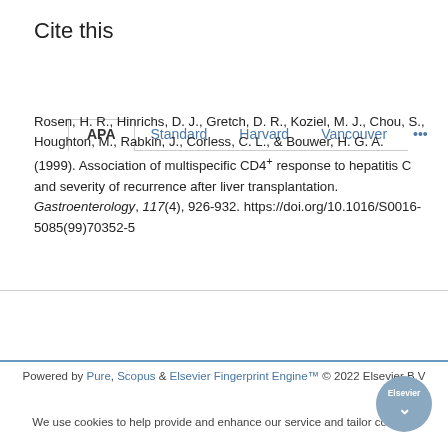Cite this
APA | Standard | Harvard | Vancouver | ...
Rosen, H. R., Hinrichs, D. J., Gretch, D. R., Koziel, M. J., Chou, S., Houghton, M., Rabkin, J., Corless, C. L., & Bouwer, H. G. A. (1999). Association of multispecific CD4+ response to hepatitis C and severity of recurrence after liver transplantation. Gastroenterology, 117(4), 926-932. https://doi.org/10.1016/S0016-5085(99)70352-5
Powered by Pure, Scopus & Elsevier Fingerprint Engine™ © 2022 Elsevier B.V
We use cookies to help provide and enhance our service and tailor content.